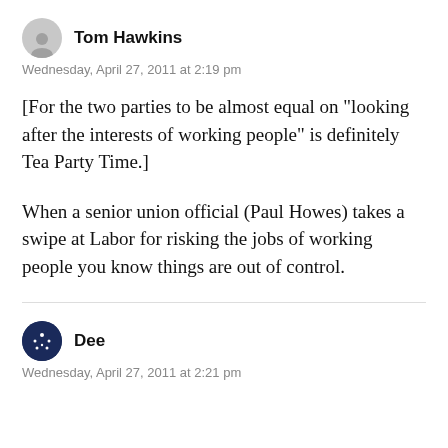[Figure (illustration): Grey circular avatar placeholder icon for user Tom Hawkins]
Tom Hawkins
Wednesday, April 27, 2011 at 2:19 pm
[For the two parties to be almost equal on “looking after the interests of working people” is definitely Tea Party Time.]
When a senior union official (Paul Howes) takes a swipe at Labor for risking the jobs of working people you know things are out of control.
[Figure (illustration): Dark blue circular avatar with white star dots pattern for user Dee]
Dee
Wednesday, April 27, 2011 at 2:21 pm